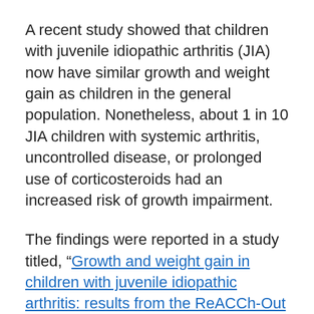A recent study showed that children with juvenile idiopathic arthritis (JIA) now have similar growth and weight gain as children in the general population. Nonetheless, about 1 in 10 JIA children with systemic arthritis, uncontrolled disease, or prolonged use of corticosteroids had an increased risk of growth impairment.
The findings were reported in a study titled, “Growth and weight gain in children with juvenile idiopathic arthritis: results from the ReACCh-Out cohort,” published in the journal Pediatric Rheumatology